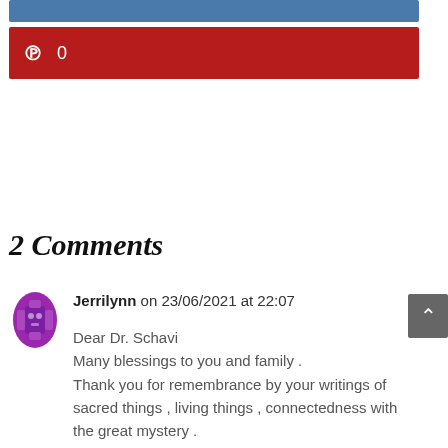[Figure (other): Blue social share bar (partial, cropped at top)]
[Figure (other): Pinterest share button bar with Pinterest logo icon and count of 0, red background]
2 Comments
[Figure (other): Purple avatar icon for commenter Jerrilynn]
Jerrilynn on 23/06/2021 at 22:07
Dear Dr. Schavi
Many blessings to you and family .
Thank you for remembrance by your writings of sacred things , living things , connectedness with the great mystery .